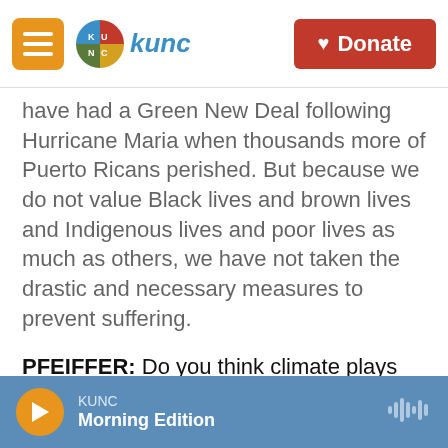KUNC logo and navigation with Donate button
have had a Green New Deal following Hurricane Maria when thousands more of Puerto Ricans perished. But because we do not value Black lives and brown lives and Indigenous lives and poor lives as much as others, we have not taken the drastic and necessary measures to prevent suffering.
PFEIFFER: Do you think climate plays out in local political races as well? Or do voters think of it mostly as something that has to be addressed on a national issue?
PRAKASH: No, I think it absolutely plays out at the local level. The climate crisis takes so many
KUNC Morning Edition